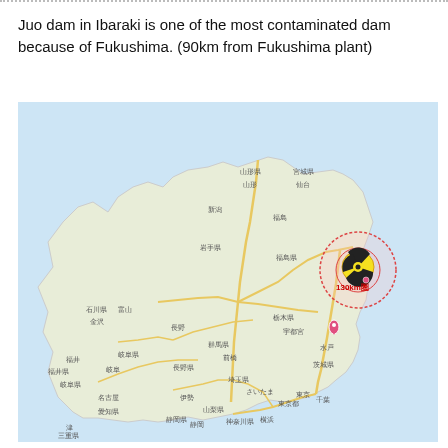Juo dam in Ibaraki is one of the most contaminated dam because of Fukushima. (90km from Fukushima plant)
[Figure (map): Map of Japan showing Honshu island with Japanese city and prefecture labels, roads, and a radiation hazard symbol with a 30km circle centered near Fukushima plant on the east coast. A pink location marker indicates Juo dam in Ibaraki, approximately 90km from the Fukushima plant.]